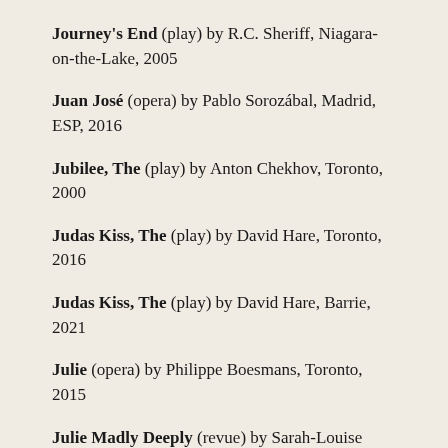Journey's End (play) by R.C. Sheriff, Niagara-on-the-Lake, 2005
Juan José (opera) by Pablo Sorozábal, Madrid, ESP, 2016
Jubilee, The (play) by Anton Chekhov, Toronto, 2000
Judas Kiss, The (play) by David Hare, Toronto, 2016
Judas Kiss, The (play) by David Hare, Barrie, 2021
Julie (opera) by Philippe Boesmans, Toronto, 2015
Julie Madly Deeply (revue) by Sarah-Louise Young, Toronto, 2014